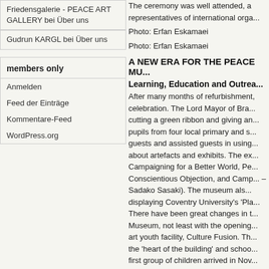Friedensgalerie - PEACE ART GALLERY bei Über uns
Gudrun KARGL bei Über uns
members only
Anmelden
Feed der Einträge
Kommentare-Feed
WordPress.org
The ceremony was well attended, a representatives of international orga...
Photo: Erfan Eskamaei
Photo: Erfan Eskamaei
A NEW ERA FOR THE PEACE MU...
Learning, Education and Outrea...
After many months of refurbishment, celebration. The Lord Mayor of Bra... cutting a green ribbon and giving an... pupils from four local primary and s... guests and assisted guests in using... about artefacts and exhibits. The ex... Campaigning for a Better World, Pe... Conscientious Objection, and Camp... – Sadako Sasaki). The museum als... displaying Coventry University's 'Pla... There have been great changes in t... Museum, not least with the opening... art youth facility, Culture Fusion. Th... the 'heart of the building' and schoo... first group of children arrived in Nov... and it is 'all go' now for the rest of th... The main focus in 2012 is Sport, the... boards and a story-based teacher's... They have also joined Bradford's O... priviloge of being able to advertise...